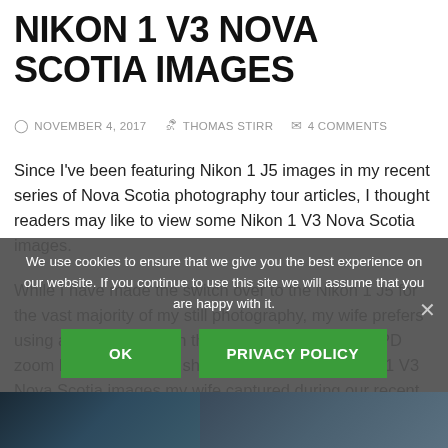NIKON 1 V3 NOVA SCOTIA IMAGES
NOVEMBER 4, 2017   THOMAS STIRR   4 COMMENTS
Since I've been featuring Nikon 1 J5 images in my recent series of Nova Scotia photography tour articles, I thought readers may like to view some Nikon 1 V3 Nova Scotia images.
While I have made the switch over to the Nikon 1 J5 for the vast majority of my still photography, my wife prefers using a Nikon 1 V3 with the kit 10-30mm f/3.5-5.6 PD zoom lens. This article shares a selection of Nikon 1 V3 Nova Scotia images my wife captured during our recent trip.
NOTE: Click on images to enlarge.
We use cookies to ensure that we give you the best experience on our website. If you continue to use this site we will assume that you are happy with it.
[Figure (photo): Bottom strip showing partial photographs at the bottom of the page]